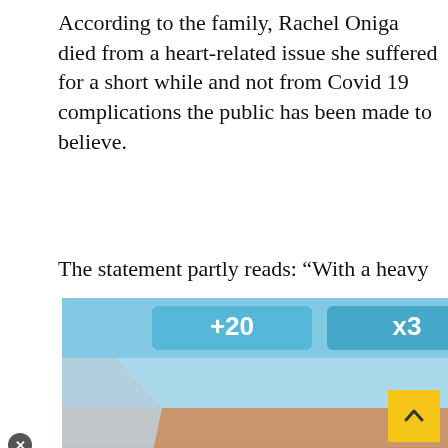According to the family, Rachel Oniga died from a heart-related issue she suffered for a short while and not from Covid 19 complications the public has been made to believe.
The statement partly reads: “With a heavy God, we write to lory of our randmother; she died in a 4, on Friday, 30th nforming tha plications, we
[Figure (screenshot): Mobile game advertisement overlay showing a bowling alley 3D scene with '+20' and 'x3' bonus indicators at the top, a character badge showing '3', two teal stick figures, and text 'Hold and Move' at the bottom. There is also a close button (X) and help button.]